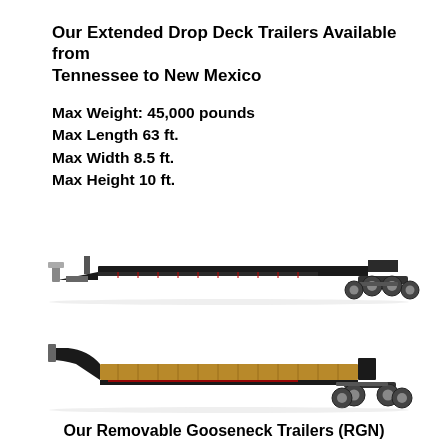Our Extended Drop Deck Trailers Available from Tennessee to New Mexico
Max Weight: 45,000 pounds
Max Length 63 ft.
Max Width 8.5 ft.
Max Height 10 ft.
[Figure (illustration): Side view of an extended drop deck trailer with dual rear axle wheels, long flat low-profile bed, and front gooseneck attachment.]
[Figure (illustration): Side view of a Removable Gooseneck (RGN) trailer with wooden deck, dual rear axle wheels, and detachable front gooseneck.]
Our Removable Gooseneck Trailers (RGN)